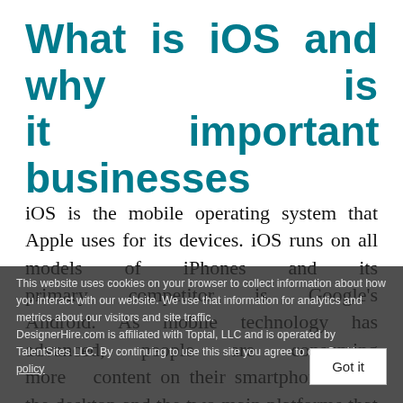What is iOS and why is it important for businesses
iOS is the mobile operating system that Apple uses for its devices. iOS runs on all models of iPhones and its primary competitor is Google's Android. As mobile technology has advanced, people are consuming more content on their smartphones than the desktop and the two main platforms that run these smartphones are iOS and Android. iOS designers know t…
This website uses cookies on your browser to collect information about how you interact with our website. We use that information for analytics and metrics about our visitors and site traffic. DesignerHire.com is affiliated with Toptal, LLC and is operated by TalentSites LLC. By continuing to use this site you agree to our Cookie policy